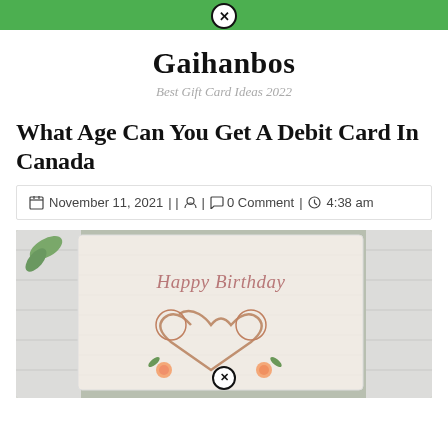Gaihanbos navigation bar
Gaihanbos
Best Gift Card Ideas 2022
What Age Can You Get A Debit Card In Canada
November 11, 2021 || 0 Comment | 4:38 am
[Figure (photo): A birthday card with 'Happy Birthday' written in italic script, decorated with floral heart design with roses and leaves, placed against a white wooden background.]